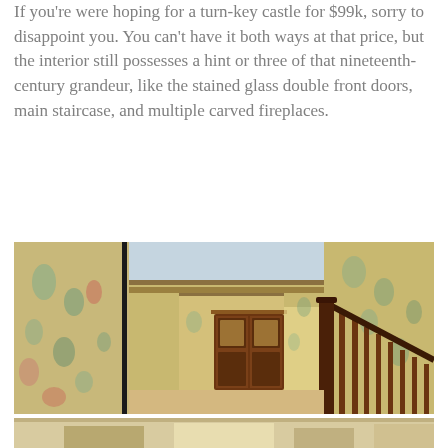If you're were hoping for a turn-key castle for $99k, sorry to disappoint you. You can't have it both ways at that price, but the interior still possesses a hint or three of that nineteenth-century grandeur, like the stained glass double front doors, main staircase, and multiple carved fireplaces.
[Figure (photo): Interior hallway of a Victorian mansion showing ornate wooden staircase with carved banister on the right, floral wallpaper on both sides, beige/tan carpet flooring, blue ceiling, and wooden double front doors with stained glass panels at the far end of the hallway.]
[Figure (photo): Partial view of another interior room of the Victorian mansion, showing the top edge of the image only — appears to be a bright room interior.]